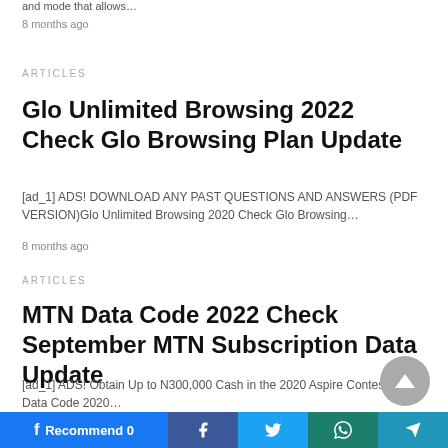and mode that allows…
8 months ago
ARTICLES
Glo Unlimited Browsing 2022 Check Glo Browsing Plan Update
[ad_1] ADS! DOWNLOAD ANY PAST QUESTIONS AND ANSWERS (PDF VERSION)Glo Unlimited Browsing 2020 Check Glo Browsing…
8 months ago
ARTICLES
MTN Data Code 2022 Check September MTN Subscription Data Update
[ad_1] ADS! Obtain Up to N300,000 Cash in the 2020 Aspire ContestMTN Data Code 2020…
8 months ago